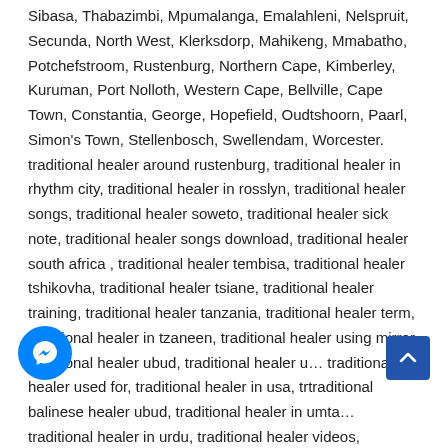Sibasa, Thabazimbi, Mpumalanga, Emalahleni, Nelspruit, Secunda, North West, Klerksdorp, Mahikeng, Mmabatho, Potchefstroom, Rustenburg, Northern Cape, Kimberley, Kuruman, Port Nolloth, Western Cape, Bellville, Cape Town, Constantia, George, Hopefield, Oudtshoorn, Paarl, Simon's Town, Stellenbosch, Swellendam, Worcester. traditional healer around rustenburg, traditional healer in rhythm city, traditional healer in rosslyn, traditional healer songs, traditional healer soweto, traditional healer sick note, traditional healer songs download, traditional healer south africa , traditional healer tembisa, traditional healer tshikovha, traditional healer tsiane, traditional healer training, traditional healer tanzania, traditional healer term, traditional healer in tzaneen, traditional healer using mirror, traditional healer ubud, traditional healer u… traditional healer used for, traditional healer in usa, traditional balinese healer ubud, traditional healer in umta… traditional healer in urdu, traditional healer videos, traditional healer…